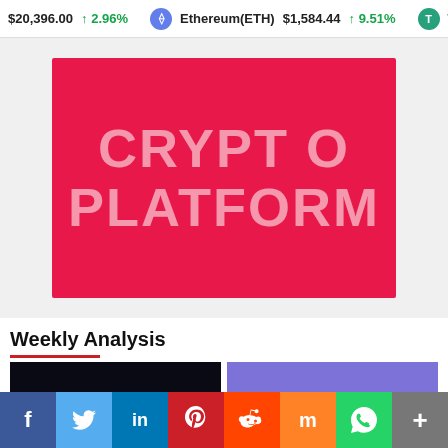$20,396.00 ↑2.96% Ethereum(ETH) $1,584.44 ↑9.51% Teth
[Figure (screenshot): Crypto platform banner — red background with large light-pink text reading 'CRYPTO PLATFORM']
Weekly Analysis
[Figure (logo): Hedera (HBAR) logo on dark background — white circle with H symbol and 'Hedera' text in white]
[Figure (screenshot): BitTorrent logo card — purple background top section, purple band with 'BitTorrent' text in white, lower grey section with red accent block]